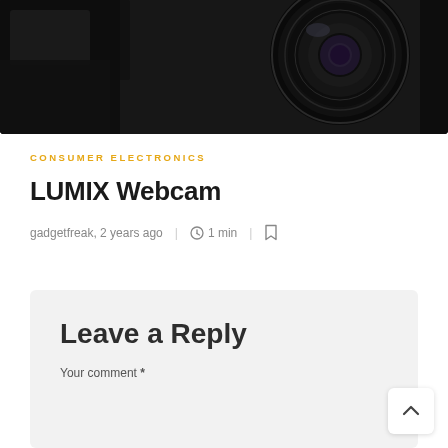[Figure (photo): Dark background image of a camera and lens, partially cropped at top]
CONSUMER ELECTRONICS
LUMIX Webcam
gadgetfreak, 2 years ago | 1 min |
Leave a Reply
Your comment *